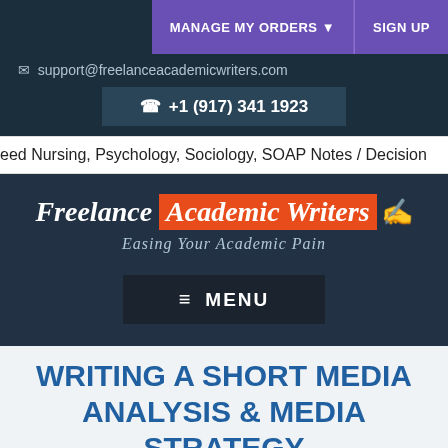MANAGE MY ORDERS ▼  SIGN UP
✉ support@freelanceacademicwriters.com
☎ +1 (917) 341 1923
eed Nursing, Psychology, Sociology, SOAP Notes / Decision
[Figure (logo): Freelance Academic Writers logo with tagline 'Easing Your Academic Pain']
≡ MENU
WRITING A SHORT MEDIA ANALYSIS & MEDIA STRATEGY